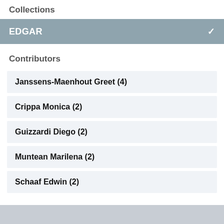Collections
EDGAR ✓
Contributors
Janssens-Maenhout Greet (4)
Crippa Monica (2)
Guizzardi Diego (2)
Muntean Marilena (2)
Schaaf Edwin (2)
Keywords
anthropogenic emissions (5)